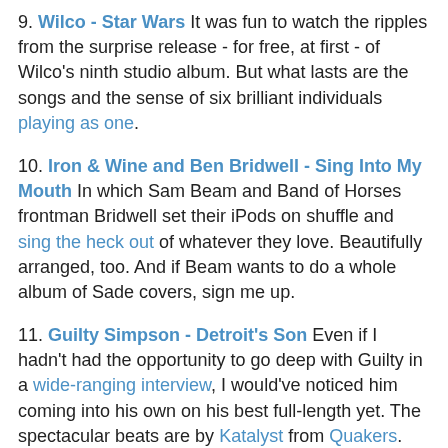9. Wilco - Star Wars It was fun to watch the ripples from the surprise release - for free, at first - of Wilco's ninth studio album. But what lasts are the songs and the sense of six brilliant individuals playing as one.
10. Iron & Wine and Ben Bridwell - Sing Into My Mouth In which Sam Beam and Band of Horses frontman Bridwell set their iPods on shuffle and sing the heck out of whatever they love. Beautifully arranged, too. And if Beam wants to do a whole album of Sade covers, sign me up.
11. Guilty Simpson - Detroit's Son Even if I hadn't had the opportunity to go deep with Guilty in a wide-ranging interview, I would've noticed him coming into his own on his best full-length yet. The spectacular beats are by Katalyst from Quakers.
12. Courtney Barnett - Sometimes I Sit And Think And Sometimes I Just Sit It's a good thing Barnett is so approachable - otherwise her dazzling lyrics and protean talent would be overwhelming. She pushes her voice and guitar into some new places on her debut full-length and